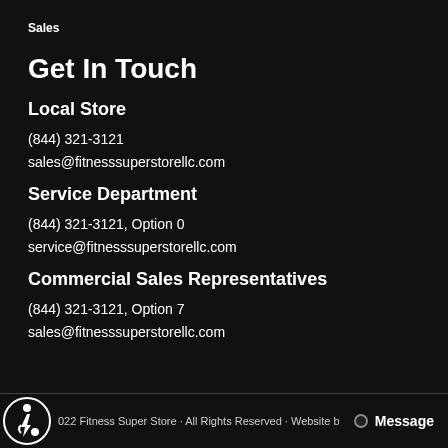Sales
Get In Touch
Local Store
(844) 321-3121
sales@fitnesssuperstorellc.com
Service Department
(844) 321-3121, Option 0
service@fitnesssuperstorellc.com
Commercial Sales Representatives
(844) 321-3121, Option 7
sales@fitnesssuperstorellc.com
2022 Fitness Super Store · All Rights Reserved · Website b